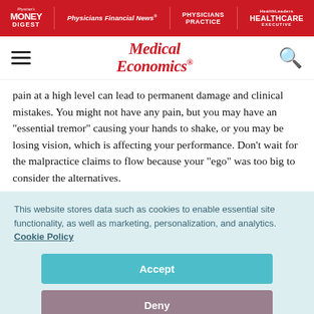Physician's Money Digest | Physicians Financial News | Physicians Practice | Healthcare Executive
Medical Economics
pain at a high level can lead to permanent damage and clinical mistakes. You might not have any pain, but you may have an “essential tremor” causing your hands to shake, or you may be losing vision, which is affecting your performance. Don’t wait for the malpractice claims to flow because your “ego” was too big to consider the alternatives.
This website stores data such as cookies to enable essential site functionality, as well as marketing, personalization, and analytics. Cookie Policy
Accept
Deny